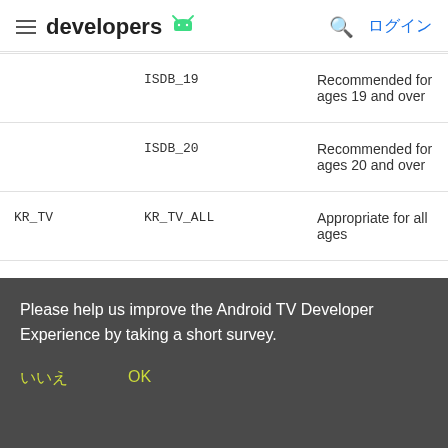developers ログイン
|  | Value | Description |
| --- | --- | --- |
|  | ISDB_19 | Recommended for ages 19 and over |
|  | ISDB_20 | Recommended for ages 20 and over |
| KR_TV | KR_TV_ALL | Appropriate for all ages |
|  | KR_TV_7 | May contain material inappropriate f... |
Please help us improve the Android TV Developer Experience by taking a short survey.
いいえ    OK